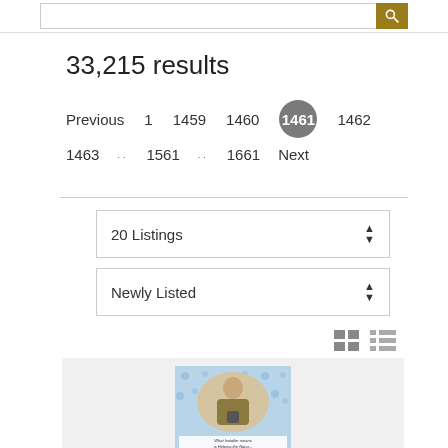33,215 results
Previous  1  1459  1460  1461  1462  1463  ..  1561  ..  1661  Next
20 Listings
Newly Listed
[Figure (screenshot): Vintage advertisement card showing a woman holding a product, with blue floral background pattern and text overlay]